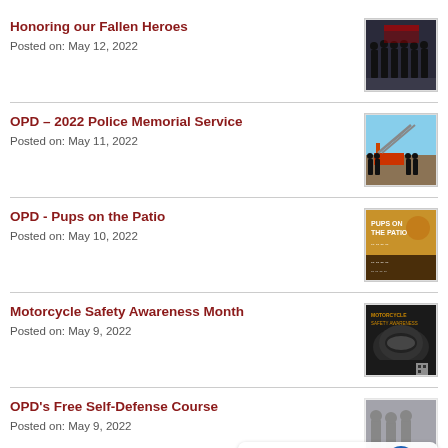Honoring our Fallen Heroes
Posted on: May 12, 2022
[Figure (photo): Group of uniformed officers/firefighters standing in formation]
OPD – 2022 Police Memorial Service
Posted on: May 11, 2022
[Figure (photo): Outdoor ceremony with a fire truck ladder raised and officers in formation]
OPD - Pups on the Patio
Posted on: May 10, 2022
[Figure (photo): Pups on the Patio event poster with golden/brown background]
Motorcycle Safety Awareness Month
Posted on: May 9, 2022
[Figure (photo): Motorcycle safety awareness poster showing a motorcycle helmet and rider]
OPD's Free Self-Defense Course
Posted on: May 9, 2022
[Figure (photo): Partially visible photo of uniformed officers]